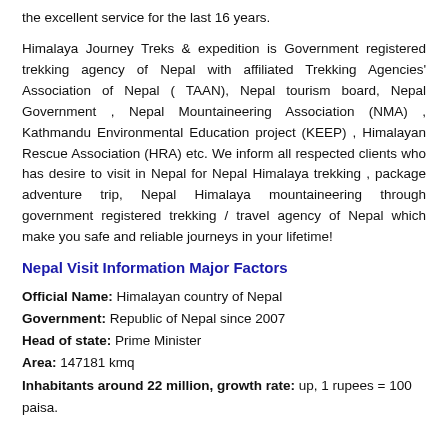the excellent service for the last 16 years.
Himalaya Journey Treks & expedition is Government registered trekking agency of Nepal with affiliated Trekking Agencies' Association of Nepal ( TAAN), Nepal tourism board, Nepal Government , Nepal Mountaineering Association (NMA) , Kathmandu Environmental Education project (KEEP) , Himalayan Rescue Association (HRA) etc. We inform all respected clients who has desire to visit in Nepal for Nepal Himalaya trekking , package adventure trip, Nepal Himalaya mountaineering through government registered trekking / travel agency of Nepal which make you safe and reliable journeys in your lifetime!
Nepal Visit Information Major Factors
Official Name: Himalayan country of Nepal
Government: Republic of Nepal since 2007
Head of state: Prime Minister
Area: 147181 kmq
Inhabitants around 22 million, growth rate: up, 1 rupees = 100 paisa.